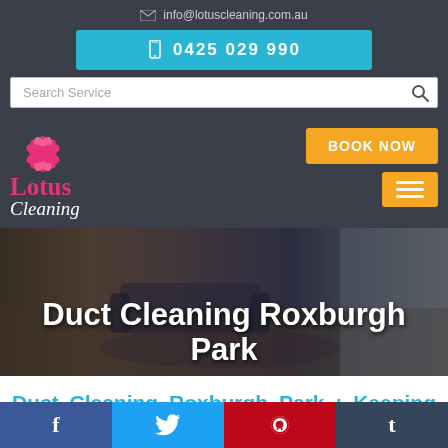info@lotuscleaning.com.au
0425 029 990
Search Service
[Figure (logo): Lotus Cleaning logo with pink lotus flower and text 'Lotus Cleaning']
BOOK NOW
Duct Cleaning Roxburgh Park
Duct Cleaning Roxburgh Park : Keeping the air in your home
[Figure (other): Social media footer bar with Facebook, Twitter, Pinterest, and Tumblr icons]